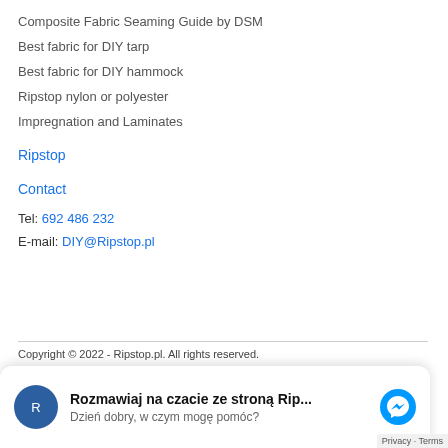Composite Fabric Seaming Guide by DSM
Best fabric for DIY tarp
Best fabric for DIY hammock
Ripstop nylon or polyester
Impregnation and Laminates
Ripstop
Contact
Tel: 692 486 232
E-mail: DIY@Ripstop.pl
Copyright © 2022 - Ripstop.pl. All rights reserved.
[Figure (other): Facebook Messenger chat widget with message: Rozmawiaj na czacie ze stroną Rip... / Dzień dobry, w czym mogę pomóc?]